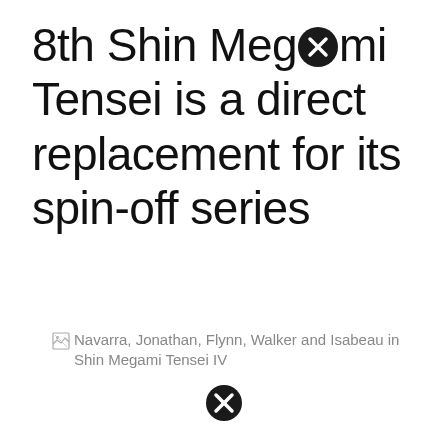8th Shin Megami Tensei is a direct replacement for its spin-off series
[Figure (other): Broken image placeholder with alt text: Navarra, Jonathan, Flynn, Walker and Isabeau in Shin Megami Tensei IV]